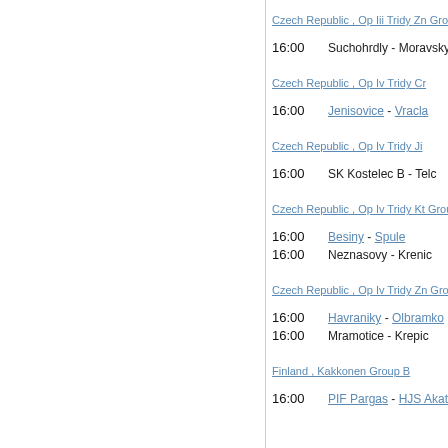Czech Republic , Op Iii Tridy Zn Group B
16:00   Suchohrdly - Moravsky Kr
Czech Republic , Op Iv Tridy Cr
16:00   Jenisovice - Vracla
Czech Republic , Op Iv Tridy Ji
16:00   SK Kostelec B - Telc
Czech Republic , Op Iv Tridy Kt Group A
16:00   Besiny - Spule
16:00   Neznasovy - Krenic
Czech Republic , Op Iv Tridy Zn Group A
16:00   Havraniky - Olbramko
16:00   Mramotice - Krepic
Finland , Kakkonen Group B
16:00   PIF Pargas - HJS Akat